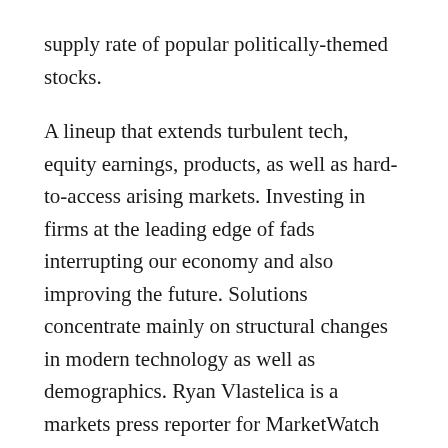supply rate of popular politically-themed stocks.
A lineup that extends turbulent tech, equity earnings, products, as well as hard-to-access arising markets. Investing in firms at the leading edge of fads interrupting our economy and also improving the future. Solutions concentrate mainly on structural changes in modern technology as well as demographics. Ryan Vlastelica is a markets press reporter for MarketWatch and also is based in New york city. On the company side of the equation, it resembles the GOP will intend to reduce the peak business income-tax rate to 20% from 35%, which is among the highest in the world.